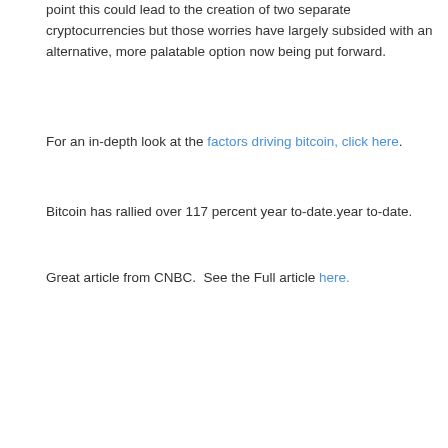point this could lead to the creation of two separate cryptocurrencies but those worries have largely subsided with an alternative, more palatable option now being put forward.
For an in-depth look at the factors driving bitcoin, click here.
Bitcoin has rallied over 117 percent year to-date.year to-date.
Great article from CNBC.  See the Full article here.